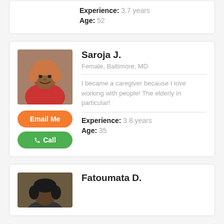Experience: 3.7 years
Age: 52
[Figure (photo): Profile photo of Saroja J., a woman with short reddish hair wearing a red outfit]
Saroja J.
Female, Baltimore, MD
I became a caregiver because I love working with people! The elderly in particular!
Experience: 3.8 years
Age: 35
[Figure (photo): Partial profile photo of Fatoumata D., a woman with dark hair]
Fatoumata D.